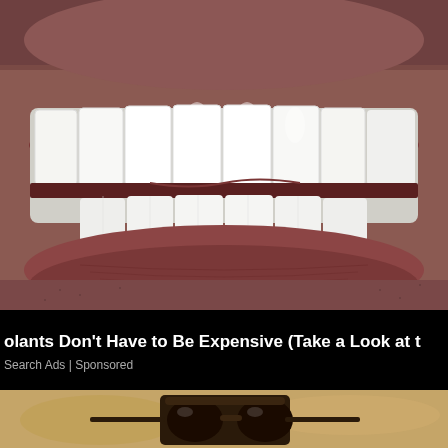[Figure (photo): Close-up photo of a person's mouth showing white dental implants/veneers, upper and lower teeth visible, lips surrounding them, stubble visible on chin and cheeks]
olants Don't Have to Be Expensive (Take a Look at t
Search Ads | Sponsored
[Figure (photo): Bottom portion of another advertisement image showing sandy ground with sunglasses]